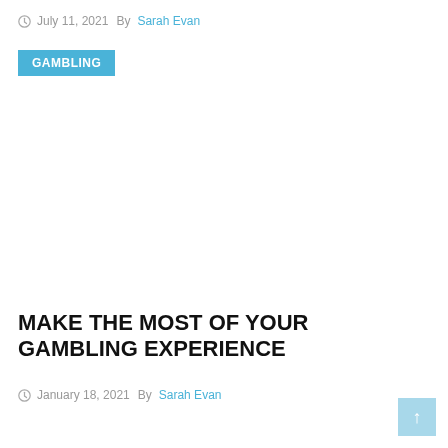July 11, 2021  By Sarah Evan
GAMBLING
MAKE THE MOST OF YOUR GAMBLING EXPERIENCE
January 18, 2021  By Sarah Evan